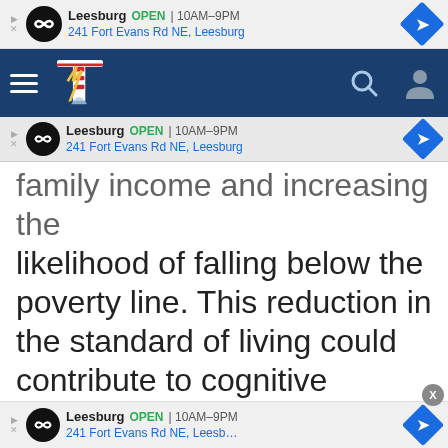[Figure (screenshot): Advertisement banner: Leesburg OPEN 10AM-9PM, 241 Fort Evans Rd NE, Leesburg with infinity logo and navigation arrow]
[Figure (screenshot): News website navigation bar with hamburger menu, Loudoun Times-Mirror logo, search icon and user icon on dark blue background]
[Figure (screenshot): Second advertisement banner: Leesburg OPEN 10AM-9PM, 241 Fort Evans Rd NE, Leesburg]
family income and increasing the likelihood of falling below the poverty line. This reduction in the standard of living could contribute to cognitive decline, according to the team.
[Figure (screenshot): Third advertisement banner at bottom: Leesburg OPEN 10AM-9PM, 241 Fort Evans Rd NE, Leesb...]